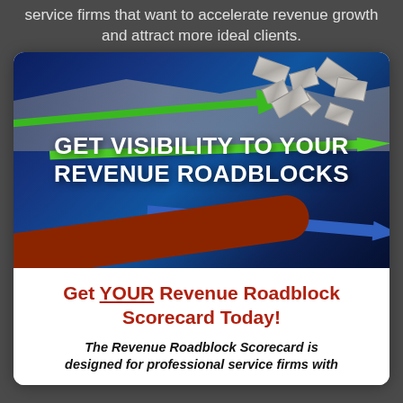service firms that want to accelerate revenue growth and attract more ideal clients.
[Figure (illustration): Hero image with blue background showing arrows breaking through barriers. A green upward arrow, a blue arrow, and a red-brown curved arrow are shown with broken concrete/wall pieces flying apart. Bold white text reads: GET VISIBILITY TO YOUR REVENUE ROADBLOCKS]
Get YOUR Revenue Roadblock Scorecard Today!
The Revenue Roadblock Scorecard is designed for professional service firms with